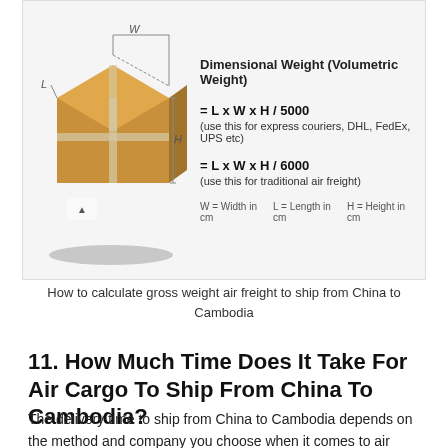[Figure (infographic): Diagram of a cardboard box with L, W, H dimension labels. Right side shows formulas: Dimensional Weight (Volumetric Weight) = L x W x H / 5000 (use this for express couriers, DHL, FedEx, UPS etc) and = L x W x H / 6000 (use this for traditional air freight). Legend: W = Width in cm, L = Length in cm, H = Height in cm.]
How to calculate gross weight air freight to ship from China to Cambodia
11. How Much Time Does It Take For Air Cargo To Ship From China To Cambodia?
The delivery time to ship from China to Cambodia depends on the method and company you choose when it comes to air